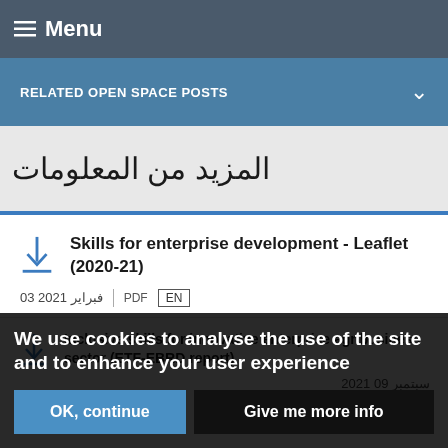Menu
RELATED OPEN SPACE POSTS
المزيد من المعلومات
Skills for enterprise development - Leaflet (2020-21)
فبراير 2021 03  PDF  EN
Inclusive skills for innovative enterprise agribusiness sector (ETF-EBRD report)
سبتمبر 09 2021
We use cookies to analyse the use of the site and to enhance your user experience
OK, continue
Give me more info